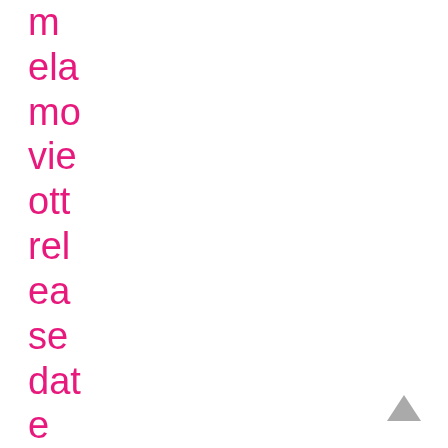m
ela
mo
vie
ott
rel
ea
se
dat
e

ne
w
rya
n
rey
[Figure (other): Scroll-to-top arrow button in grey, pointing upward]